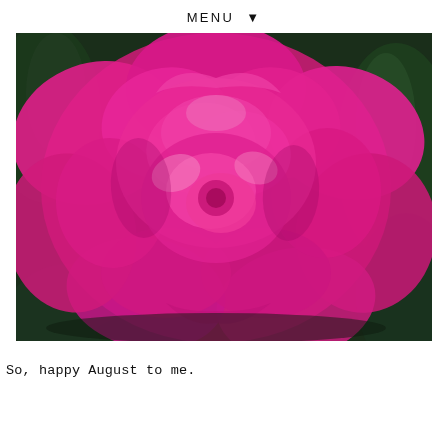MENU ▼
[Figure (photo): Close-up photograph of a large, fully bloomed hot pink peony flower with dark green leaves visible in the background.]
So, happy August to me.